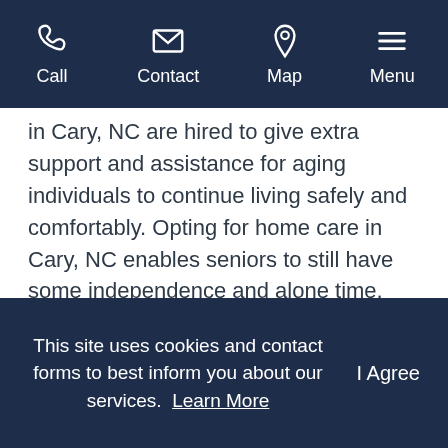Call  Contact  Map  Menu
in Cary, NC are hired to give extra support and assistance for aging individuals to continue living safely and comfortably. Opting for home care in Cary, NC enables seniors to still have some independence and alone time.
Home Care in Cary, NC Provides One-on-One Attention
When it comes to home care in Cary, NC, the
This site uses cookies and contact forms to best inform you about our services. Learn More   I Agree